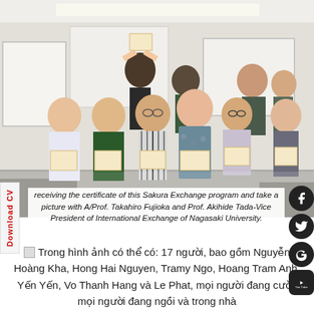[Figure (photo): Group photo of approximately 10 people in a classroom holding certificates. A/Prof. Takahiro Fujioka and Prof. Akihide Tada-Vice President of International Exchange of Nagasaki University are present. The setting appears to be a Japanese university classroom.]
receiving the certificate of this Sakura Exchange program and take a picture with A/Prof. Takahiro Fujioka and Prof. Akihide Tada-Vice President of International Exchange of Nagasaki University.
Trong hình ảnh có thể có: 17 người, bao gồm Nguyễn Hoàng Kha, Hong Hai Nguyen, Tramy Ngo, Hoang Tram Anh, Yến Yến, Vo Thanh Hang và Le Phat, mọi người đang cười, mọi người đang ngồi và trong nhà